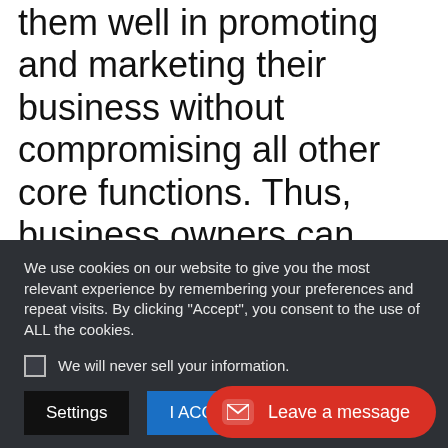them well in promoting and marketing their business without compromising all other core functions. Thus, business owners can focus on other concerns such as growth and expansion. Invest now in order to take services and reap the benefits it offers while enjoying good
We use cookies on our website to give you the most relevant experience by remembering your preferences and repeat visits. By clicking “Accept”, you consent to the use of ALL the cookies.
We will never sell your information.
Settings
I ACCEPT
Leave a message